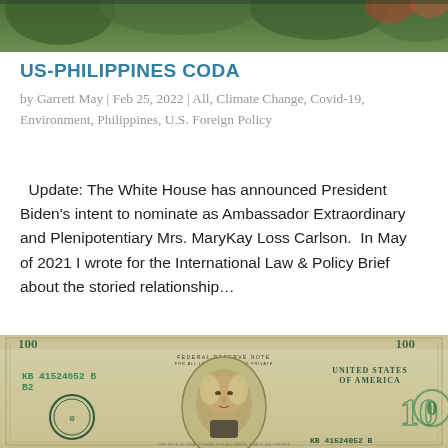[Figure (photo): Top portion of an outdoor photo (partial view at top of page)]
US-PHILIPPINES CODA
by Garrett May | Feb 25, 2022 | All, Climate Change, Covid-19, Environment, Philippines, U.S. Foreign Policy
Update: The White House has announced President Biden's intent to nominate as Ambassador Extraordinary and Plenipotentiary Mrs. MaryKay Loss Carlson.  In May of 2021 I wrote for the International Law & Policy Brief about the storied relationship...
[Figure (photo): Photo of a US $100 bill (Federal Reserve Note, serial number KB 41524052 B B2) showing Benjamin Franklin's portrait and denomination markings.]